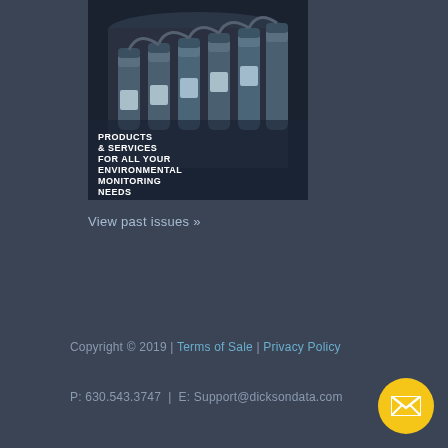[Figure (photo): Industrial pharmaceutical vials/bottles on a production line conveyor, with text overlay reading 'PRODUCTS & SERVICES FOR ALL YOUR ENVIRONMENTAL MONITORING NEEDS']
View past issues »
Copyright © 2019 | Terms of Sale | Privacy Policy
P: 630.543.3747  |  E: Support@dicksondata.com